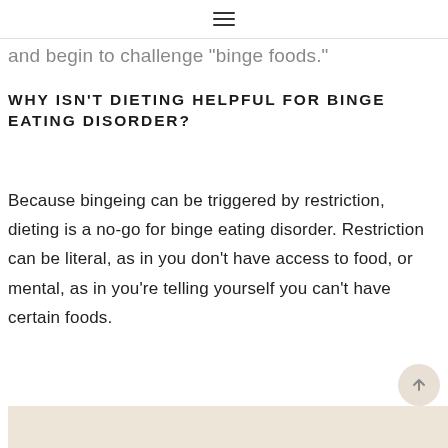☰
and begin to challenge "binge foods."
WHY ISN'T DIETING HELPFUL FOR BINGE EATING DISORDER?
Because bingeing can be triggered by restriction, dieting is a no-go for binge eating disorder. Restriction can be literal, as in you don't have access to food, or mental, as in you're telling yourself you can't have certain foods.
[Figure (other): Beige/tan colored box at the bottom of the page, partial view]